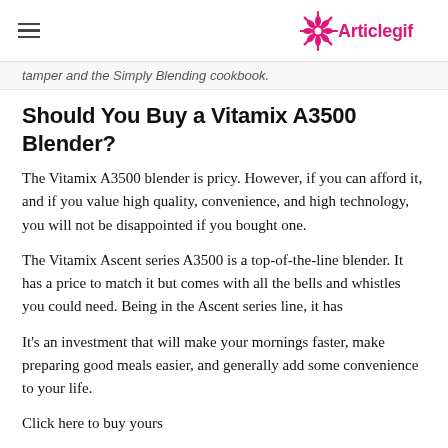Articlegif
tamper and the Simply Blending cookbook.
Should You Buy a Vitamix A3500 Blender?
The Vitamix A3500 blender is pricy. However, if you can afford it, and if you value high quality, convenience, and high technology, you will not be disappointed if you bought one.
The Vitamix Ascent series A3500 is a top-of-the-line blender. It has a price to match it but comes with all the bells and whistles you could need. Being in the Ascent series line, it has
It's an investment that will make your mornings faster, make preparing good meals easier, and generally add some convenience to your life.
Click here to buy yours
What do you think of the Vitamix A3500? Please leave your thoughts and questions in the comments section below.
Alternatives (Vitamix A3500 Blend...